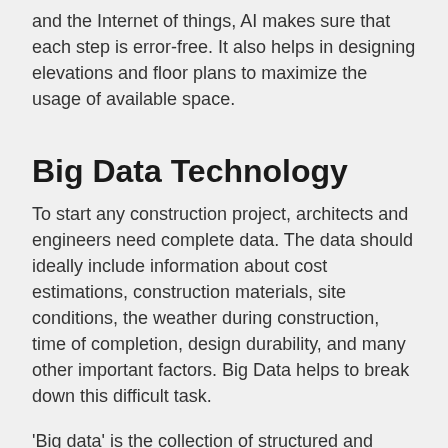and the Internet of things, AI makes sure that each step is error-free. It also helps in designing elevations and floor plans to maximize the usage of available space.
Big Data Technology
To start any construction project, architects and engineers need complete data. The data should ideally include information about cost estimations, construction materials, site conditions, the weather during construction, time of completion, design durability, and many other important factors. Big Data helps to break down this difficult task.
'Big data' is the collection of structured and unstructured data that helps companies to